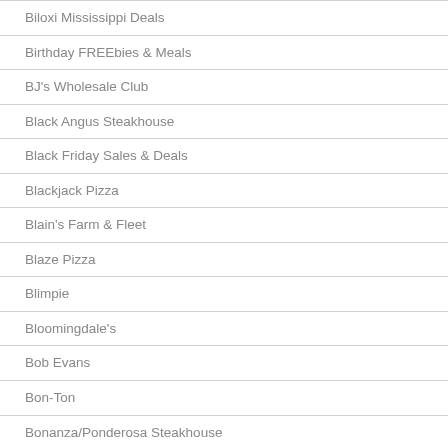Biloxi Mississippi Deals
Birthday FREEbies & Meals
BJ's Wholesale Club
Black Angus Steakhouse
Black Friday Sales & Deals
Blackjack Pizza
Blain's Farm & Fleet
Blaze Pizza
Blimpie
Bloomingdale's
Bob Evans
Bon-Ton
Bonanza/Ponderosa Steakhouse
Bonefish Grill